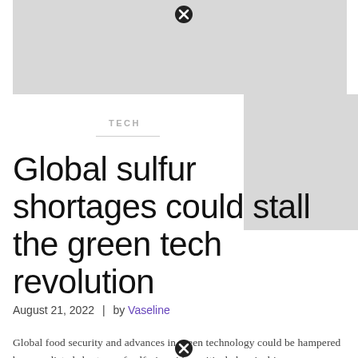[Figure (other): Advertisement banner placeholder (light gray rectangle) at top of page]
TECH
Global sulfur shortages could stall the green tech revolution
August 21, 2022  |  by Vaseline
Global food security and advances in green technology could be hampered by a predicted shortage of sulfuric acid, a critical chemical in many modern industries.